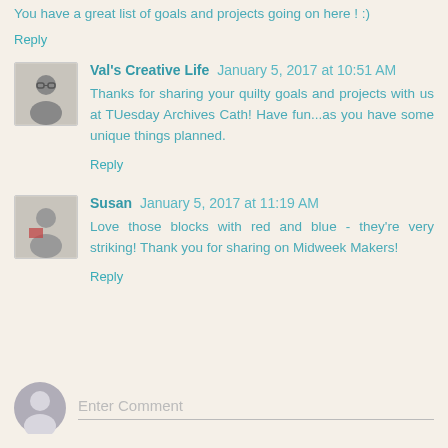You have a great list of goals and projects going on here ! :)
Reply
Val's Creative Life  January 5, 2017 at 10:51 AM
Thanks for sharing your quilty goals and projects with us at TUesday Archives Cath! Have fun...as you have some unique things planned.
Reply
Susan  January 5, 2017 at 11:19 AM
Love those blocks with red and blue - they're very striking! Thank you for sharing on Midweak Makers!
Reply
Enter Comment